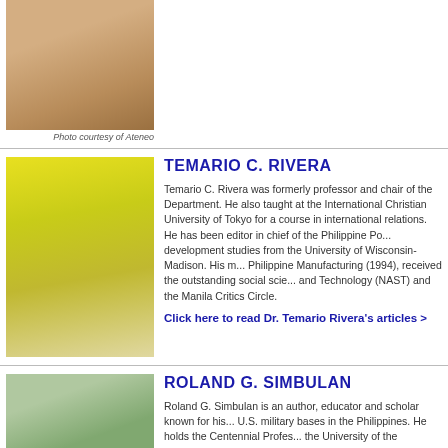[Figure (photo): Photo of a person (cropped, upper body), with caption 'Photo courtesy of Ateneo']
Photo courtesy of Ateneo
[Figure (photo): Photo of Temario C. Rivera, speaking at a microphone, yellow background]
TEMARIO C. RIVERA
Temario C. Rivera was formerly professor and chair of the Department. He also taught at the International Christian University of Tokyo for a course in international relations. He has been editor in chief of the Philippine Po... development studies from the University of Wisconsin-Madison. His m... Philippine Manufacturing (1994), received the outstanding social scie... and Technology (NAST) and the Manila Critics Circle.
Click here to read Dr. Temario Rivera's articles >
[Figure (photo): Photo of Roland G. Simbulan]
ROLAND G. SIMBULAN
Roland G. Simbulan is an author, educator and scholar known for his... U.S. military bases in the Philippines. He holds the Centennial Profes... the University of the Philippines, Manila where he has been teaching... Regents, and former Vice Chancellor for Planning and Development...